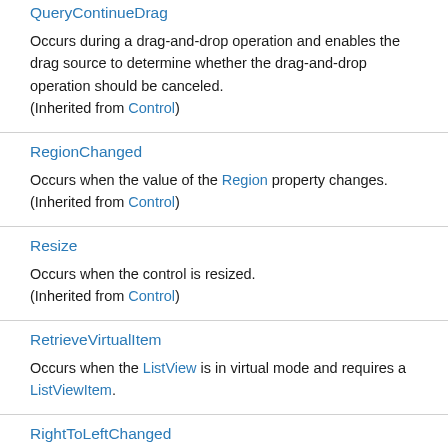QueryContinueDrag
Occurs during a drag-and-drop operation and enables the drag source to determine whether the drag-and-drop operation should be canceled.
(Inherited from Control)
RegionChanged
Occurs when the value of the Region property changes.
(Inherited from Control)
Resize
Occurs when the control is resized.
(Inherited from Control)
RetrieveVirtualItem
Occurs when the ListView is in virtual mode and requires a ListViewItem.
RightToLeftChanged
Occurs when the RightToLeft property value changes.
(Inherited from Control)